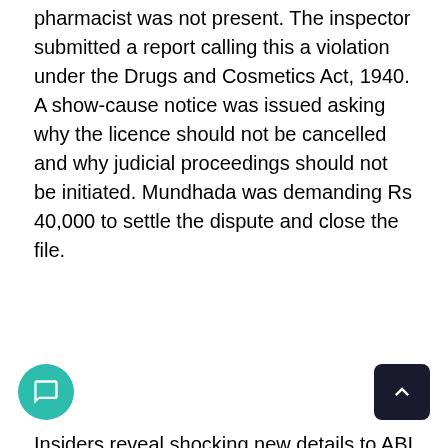pharmacist was not present. The inspector submitted a report calling this a violation under the Drugs and Cosmetics Act, 1940. A show-cause notice was issued asking why the licence should not be cancelled and why judicial proceedings should not be initiated. Mundhada was demanding Rs 40,000 to settle the dispute and close the file.
Insiders reveal shocking new details to ABI (ABI has no documentary evidence) that Mundhada has partnership in two medical firms. One is Safelife Pharma in Mulund (west), a medical distributor firm. There are lots of complaints against Safelife but no action has been taken by FDA as Mundhada is a partner. Second firm's name has not been revealed by the sources.
MP Gopal Shetty, BJP MLA from Dahisar Manisha Chaudhari and Dr Ved Tiwari, vice president, Maharashtra